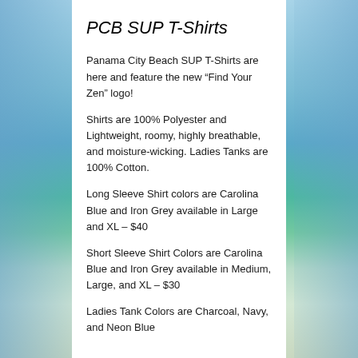PCB SUP T-Shirts
Panama City Beach SUP T-Shirts are here and feature the new “Find Your Zen” logo!
Shirts are 100% Polyester and Lightweight, roomy, highly breathable, and moisture-wicking. Ladies Tanks are 100% Cotton.
Long Sleeve Shirt colors are Carolina Blue and Iron Grey available in Large and XL – $40
Short Sleeve Shirt Colors are Carolina Blue and Iron Grey available in Medium, Large, and XL – $30
Ladies Tank Colors are Charcoal, Navy, and Neon Blue